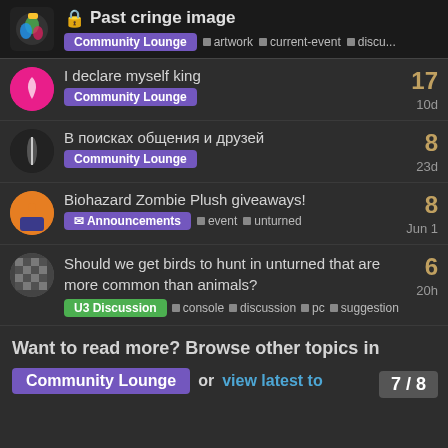Past cringe image — Community Lounge | artwork | current-event | discu...
I declare myself king — Community Lounge — 17 replies — 10d
В поисках общения и друзей — Community Lounge — 8 replies — 23d
Biohazard Zombie Plush giveaways! — Announcements | event | unturned — 8 replies — Jun 1
Should we get birds to hunt in unturned that are more common than animals? — U3 Discussion | console | discussion | pc | suggestion — 6 replies — 20h
Want to read more? Browse other topics in Community Lounge or view latest to...
7 / 8